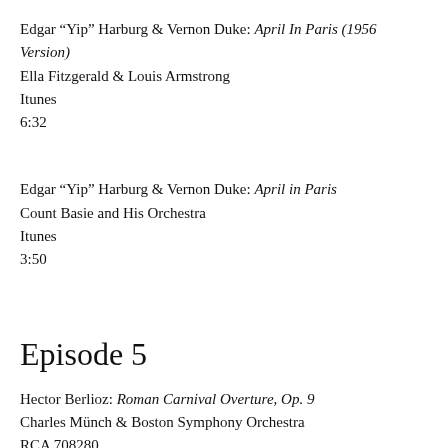Edgar “Yip” Harburg & Vernon Duke: April In Paris (1956 Version)
Ella Fitzgerald & Louis Armstrong
Itunes
6:32
Edgar “Yip” Harburg & Vernon Duke: April in Paris
Count Basie and His Orchestra
Itunes
3:50
Episode 5
Hector Berlioz: Roman Carnival Overture, Op. 9
Charles Münch & Boston Symphony Orchestra
RCA 708280